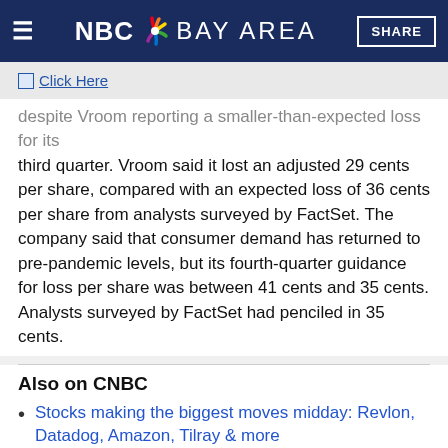NBC Bay Area — SHARE
[Figure (other): Click Here advertisement banner link]
despite Vroom reporting a smaller-than-expected loss for its third quarter. Vroom said it lost an adjusted 29 cents per share, compared with an expected loss of 36 cents per share from analysts surveyed by FactSet. The company said that consumer demand has returned to pre-pandemic levels, but its fourth-quarter guidance for loss per share was between 41 cents and 35 cents. Analysts surveyed by FactSet had penciled in 35 cents.
Also on CNBC
Stocks making the biggest moves midday: Revlon, Datadog, Amazon, Tilray & more